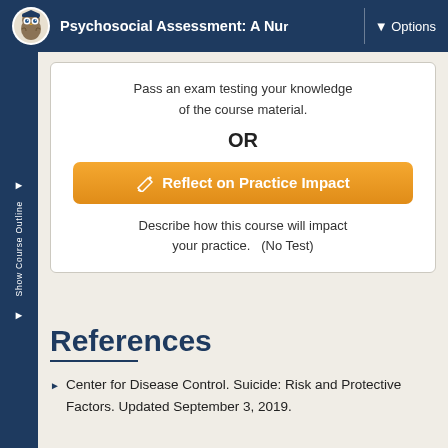Psychosocial Assessment: A Nu  ▼ Options
Pass an exam testing your knowledge of the course material.
OR
Reflect on Practice Impact
Describe how this course will impact your practice.   (No Test)
References
Center for Disease Control. Suicide: Risk and Protective Factors. Updated September 3, 2019.